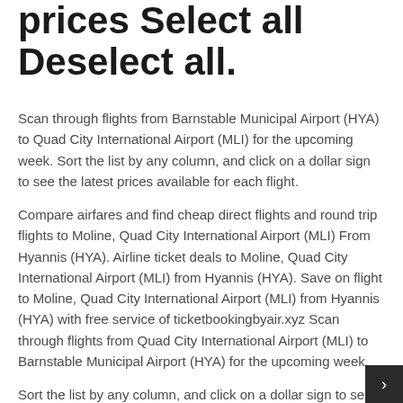prices Select all Deselect all.
Scan through flights from Barnstable Municipal Airport (HYA) to Quad City International Airport (MLI) for the upcoming week. Sort the list by any column, and click on a dollar sign to see the latest prices available for each flight.
Compare airfares and find cheap direct flights and round trip flights to Moline, Quad City International Airport (MLI) From Hyannis (HYA). Airline ticket deals to Moline, Quad City International Airport (MLI) from Hyannis (HYA). Save on flight to Moline, Quad City International Airport (MLI) from Hyannis (HYA) with free service of ticketbookingbyair.xyz Scan through flights from Quad City International Airport (MLI) to Barnstable Municipal Airport (HYA) for the upcoming week.
Sort the list by any column, and click on a dollar sign to see the latest prices available for each flight. Flights from Hyannis to Moline (HYA to MLI) There are 20 flight connection options available between Hyannis, Barnstable and Moline, Quad City…